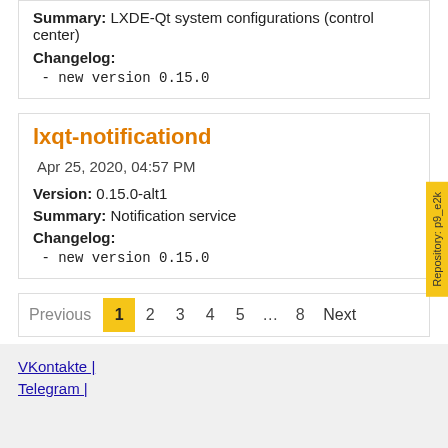Summary: LXDE-Qt system configurations (control center)
Changelog:
- new version 0.15.0
lxqt-notificationd
Apr 25, 2020, 04:57 PM
Version: 0.15.0-alt1
Summary: Notification service
Changelog:
- new version 0.15.0
Previous 1 2 3 4 5 … 8 Next
Repository: p9_e2k
VKontakte |
Telegram |